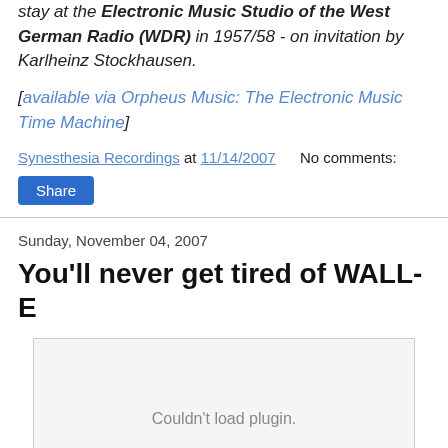stay at the Electronic Music Studio of the West German Radio (WDR) in 1957/58 - on invitation by Karlheinz Stockhausen.
[available via Orpheus Music: The Electronic Music Time Machine]
Synesthesia Recordings at 11/14/2007    No comments:
Share
Sunday, November 04, 2007
You'll never get tired of WALL-E
Couldn't load plugin.